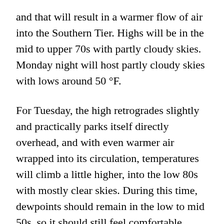and that will result in a warmer flow of air into the Southern Tier. Highs will be in the mid to upper 70s with partly cloudy skies. Monday night will host partly cloudy skies with lows around 50 °F.
For Tuesday, the high retrogrades slightly and practically parks itself directly overhead, and with even warmer air wrapped into its circulation, temperatures will climb a little higher, into the low 80s with mostly clear skies. During this time, dewpoints should remain in the low to mid 50s, so it should still feel comfortable. Tuesday night will be mostly clear with lows in the mid 50s.